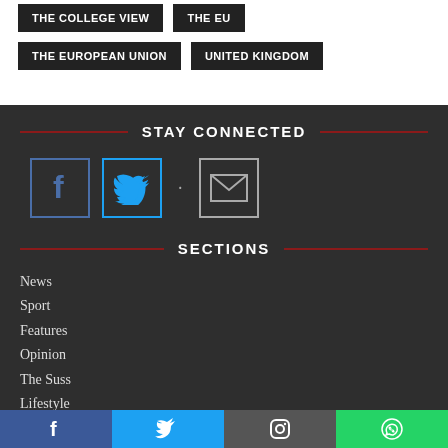THE COLLEGE VIEW
THE EU
THE EUROPEAN UNION
UNITED KINGDOM
STAY CONNECTED
[Figure (other): Facebook icon box with blue border]
[Figure (other): Twitter icon box with cyan border]
[Figure (other): Email/envelope icon box with grey border]
SECTIONS
News
Sport
Features
Opinion
The Suss
Lifestyle
Facebook | Twitter | Instagram | WhatsApp social share bar